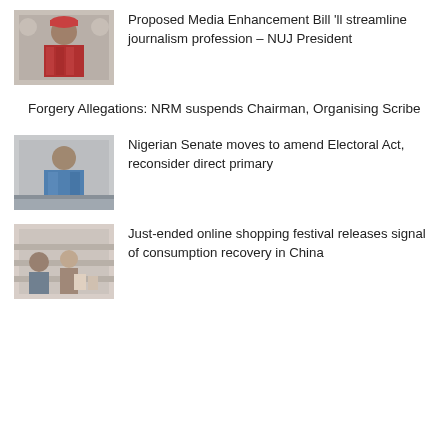[Figure (photo): Person wearing red patterned clothing and a traditional hat, seated, with logos visible in background]
Proposed Media Enhancement Bill 'll streamline journalism profession – NUJ President
Forgery Allegations: NRM suspends Chairman, Organising Scribe
[Figure (photo): Person in blue clothing seated, appears to be at a formal setting]
Nigerian Senate moves to amend Electoral Act, reconsider direct primary
[Figure (photo): People at what appears to be a shopping or market setting]
Just-ended online shopping festival releases signal of consumption recovery in China